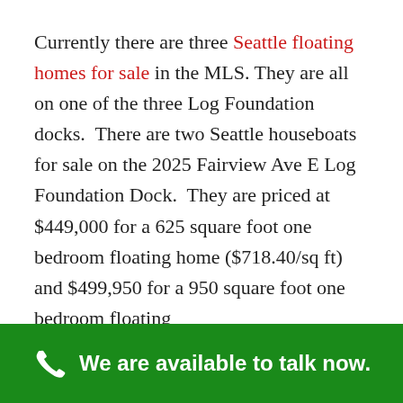Currently there are three Seattle floating homes for sale in the MLS. They are all on one of the three Log Foundation docks.  There are two Seattle houseboats for sale on the 2025 Fairview Ave E Log Foundation Dock.  They are priced at $449,000 for a 625 square foot one bedroom floating home ($718.40/sq ft) and $499,950 for a 950 square foot one bedroom floating
We are available to talk now.